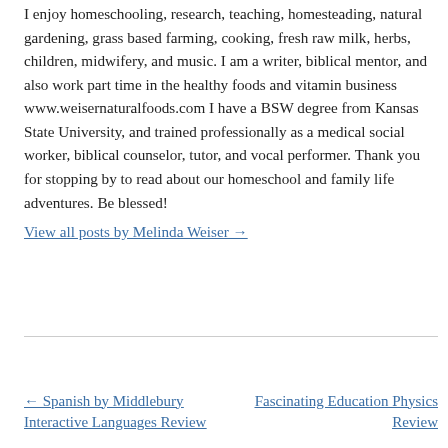I enjoy homeschooling, research, teaching, homesteading, natural gardening, grass based farming, cooking, fresh raw milk, herbs, children, midwifery, and music. I am a writer, biblical mentor, and also work part time in the healthy foods and vitamin business www.weisernaturalfoods.com I have a BSW degree from Kansas State University, and trained professionally as a medical social worker, biblical counselor, tutor, and vocal performer. Thank you for stopping by to read about our homeschool and family life adventures. Be blessed!
View all posts by Melinda Weiser →
← Spanish by Middlebury Interactive Languages Review
Fascinating Education Physics Review